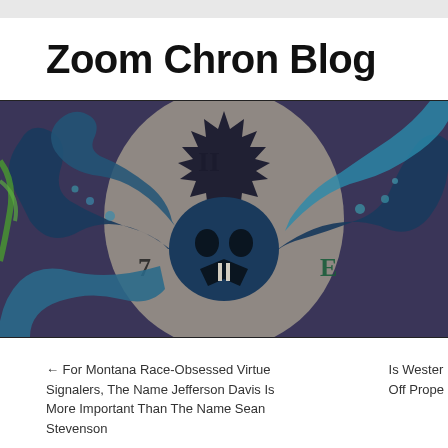Zoom Chron Blog
[Figure (illustration): Banner image showing a stylized blue/teal octopus with tentacles overlapping a vintage clock face. The clock shows numbers 7, 11 visible. Colors are muted purple, blue, teal with a vintage/aged look.]
← For Montana Race-Obsessed Virtue Signalers, The Name Jefferson Davis Is More Important Than The Name Sean Stevenson
Is Wester Off Prope
A Customer Complaint Assign...